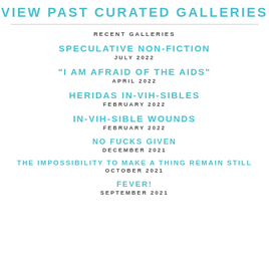VIEW PAST CURATED GALLERIES
RECENT GALLERIES
SPECULATIVE NON-FICTION
JULY 2022
"I AM AFRAID OF THE AIDS"
APRIL 2022
HERIDAS IN-VIH-SIBLES
FEBRUARY 2022
IN-VIH-SIBLE WOUNDS
FEBRUARY 2022
NO FUCKS GIVEN
DECEMBER 2021
THE IMPOSSIBILITY TO MAKE A THING REMAIN STILL
OCTOBER 2021
FEVER!
SEPTEMBER 2021